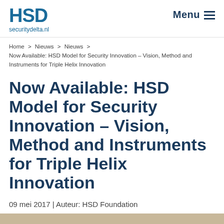HSD securitydelta.nl | Menu
Home > Nieuws > Nieuws > Now Available: HSD Model for Security Innovation – Vision, Method and Instruments for Triple Helix Innovation
Now Available: HSD Model for Security Innovation – Vision, Method and Instruments for Triple Helix Innovation
09 mei 2017 | Auteur: HSD Foundation
[Figure (photo): Bottom portion of page showing a warm beige/tan colored image strip, partially visible]